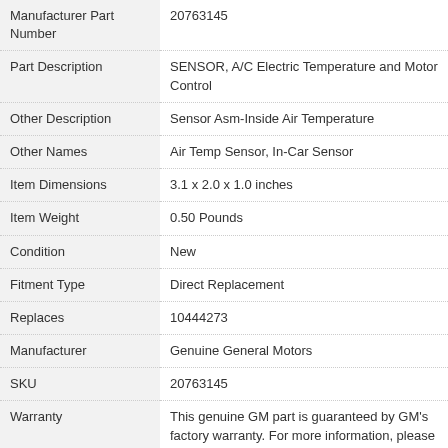| Field | Value |
| --- | --- |
| Manufacturer Part Number | 20763145 |
| Part Description | SENSOR, A/C Electric Temperature and Motor Control |
| Other Description | Sensor Asm-Inside Air Temperature |
| Other Names | Air Temp Sensor, In-Car Sensor |
| Item Dimensions | 3.1 x 2.0 x 1.0 inches |
| Item Weight | 0.50 Pounds |
| Condition | New |
| Fitment Type | Direct Replacement |
| Replaces | 10444273 |
| Manufacturer | Genuine General Motors |
| SKU | 20763145 |
| Warranty | This genuine GM part is guaranteed by GM's factory warranty. For more information, please see our Warranty Page. |
| Shipping & Return | Shipping Policy   Return Policy |